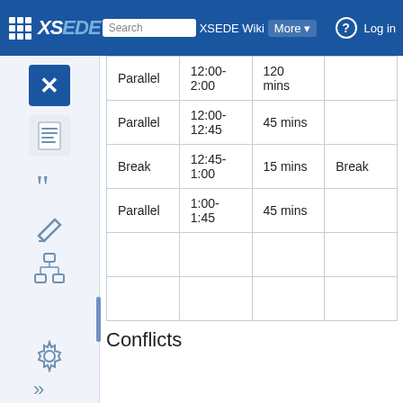XSEDE Wiki — Search XSEDE Wiki | More | Log in
| Type | Time | Duration | Note |
| --- | --- | --- | --- |
| Parallel | 12:00-2:00 | 120 mins |  |
| Parallel | 12:00-12:45 | 45 mins |  |
| Break | 12:45-1:00 | 15 mins | Break |
| Parallel | 1:00-1:45 | 45 mins |  |
|  |  |  |  |
|  |  |  |  |
Conflicts